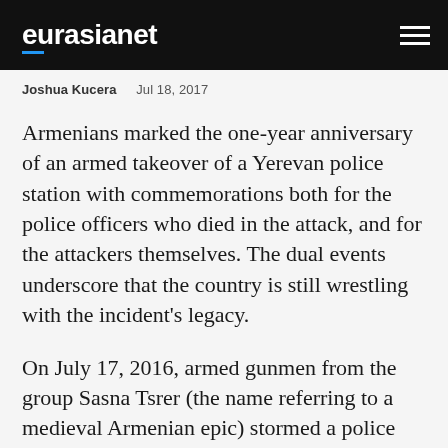eurasianet
Joshua Kucera   Jul 18, 2017
Armenians marked the one-year anniversary of an armed takeover of a Yerevan police station with commemorations both for the police officers who died in the attack, and for the attackers themselves. The dual events underscore that the country is still wrestling with the incident’s legacy.
On July 17, 2016, armed gunmen from the group Sasna Tsrer (the name referring to a medieval Armenian epic) stormed a police